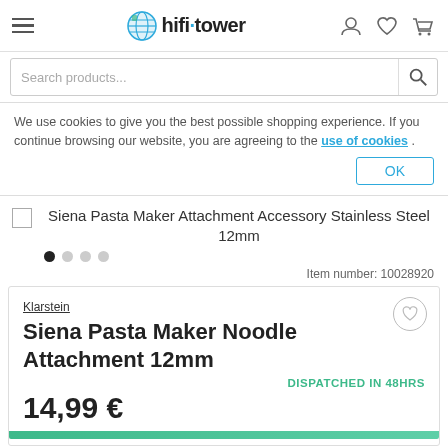hifi-tower — navigation header with hamburger menu, logo, user/wishlist/cart icons
Search products...
We use cookies to give you the best possible shopping experience. If you continue browsing our website, you are agreeing to the use of cookies .
OK
Siena Pasta Maker Attachment Accessory Stainless Steel 12mm
Item number: 10028920
Klarstein
Siena Pasta Maker Noodle Attachment 12mm
DISPATCHED IN 48HRS
14,99 €